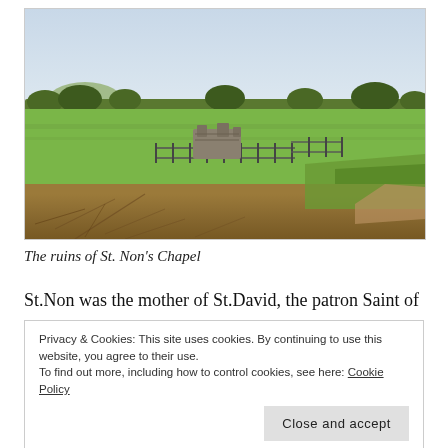[Figure (photo): A landscape photograph showing the ruins of St. Non's Chapel — stone ruins enclosed by metal railings, set in a wide green field with hedgerows and distant hills under a pale blue sky.]
The ruins of St. Non's Chapel
St.Non was the mother of St.David, the patron Saint of
with old legends pertaining to its curative powers.